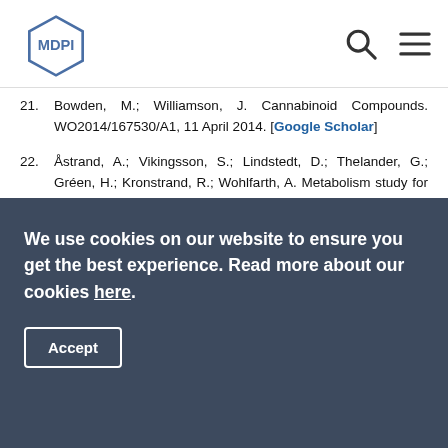MDPI
21. Bowden, M.; Williamson, J. Cannabinoid Compounds. WO2014/167530/A1, 11 April 2014. [Google Scholar]
22. Åstrand, A.; Vikingsson, S.; Lindstedt, D.; Thelander, G.; Gréen, H.; Kronstrand, R.; Wohlfarth, A. Metabolism study for CUMYL-4CN-BINACA in human hepatocytes and authentic urine specimens: Free cyanide is formed during the main metabolic pathway. Drug Test. Anal. 2018, 10, 1270–1279. [Google Scholar] [CrossRef] [PubMed]
23. Staeheli, S.N.; Poetzsch, M.; Veloso, V.P.; Bovens, M.; Bissig, C.; Steuer, A.E.; Kraemer, T. In vitro metabolism of
We use cookies on our website to ensure you get the best experience. Read more about our cookies here.